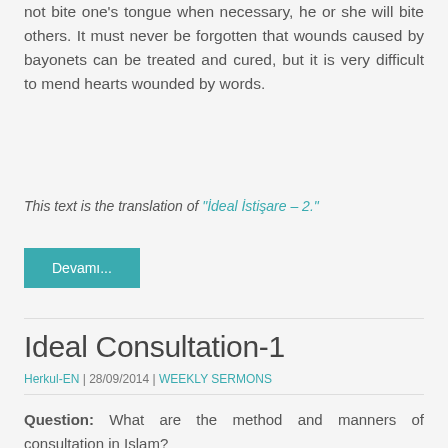not bite one's tongue when necessary, he or she will bite others. It must never be forgotten that wounds caused by bayonets can be treated and cured, but it is very difficult to mend hearts wounded by words.
This text is the translation of "İdeal İstişare – 2."
Devamı...
Ideal Consultation-1
Herkul-EN | 28/09/2014 | WEEKLY SERMONS
Question: What are the method and manners of consultation in Islam?
Answer: The Qur'an clearly mentions consultation as an